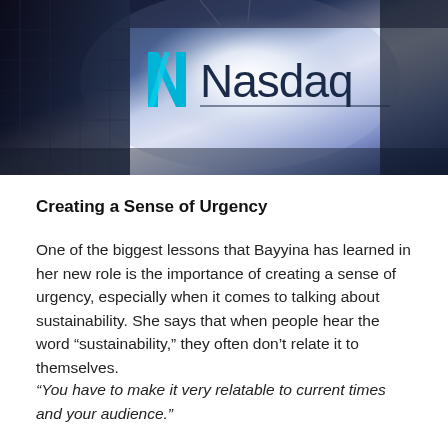[Figure (photo): Photo of a large illuminated Nasdaq logo sign on a building or display, with a teal/cyan N icon followed by the word 'Nasdaq' in dark navy text against a bright white glowing background, with dark building structures visible on the left side.]
Creating a Sense of Urgency
One of the biggest lessons that Bayyina has learned in her new role is the importance of creating a sense of urgency, especially when it comes to talking about sustainability. She says that when people hear the word “sustainability,” they often don’t relate it to themselves.
“You have to make it very relatable to current times and your audience.”